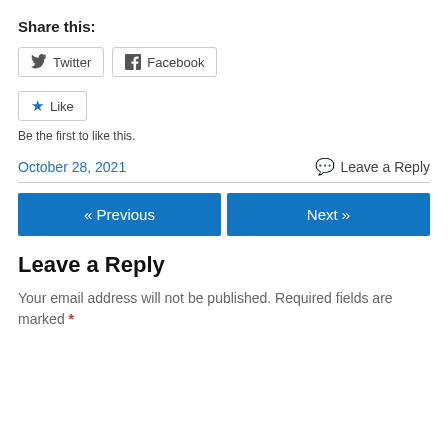Share this:
[Figure (other): Social share buttons: Twitter and Facebook with icons]
[Figure (other): Like button with star icon]
Be the first to like this.
October 28, 2021
Leave a Reply
[Figure (other): Navigation buttons: « Previous and Next »]
Leave a Reply
Your email address will not be published. Required fields are marked *